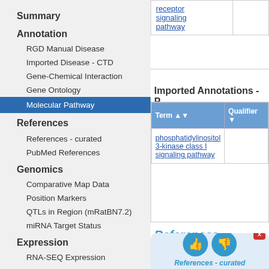Summary
Annotation
RGD Manual Disease
Imported Disease - CTD
Gene-Chemical Interaction
Gene Ontology
Molecular Pathway
References
References - curated
PubMed References
Genomics
Comparative Map Data
Position Markers
QTLs in Region (mRatBN7.2)
miRNA Target Status
Expression
RNA-SEQ Expression
|  |  |
| --- | --- |
| receptor signaling pathway |  |
Imported Annotations - P
| Term | Qualifier |
| --- | --- |
| phosphatidylinositol 3-kinase class I signaling pathway |  |
References
[Figure (screenshot): Feedback widget with thumbs up and thumbs down icons, X close button, References - curated italic text, and Send Message blue button]
|  | Refe... |
| --- | --- |
| 1. | Phylogenetic-based propagation of... |
Gauc... Bioir...